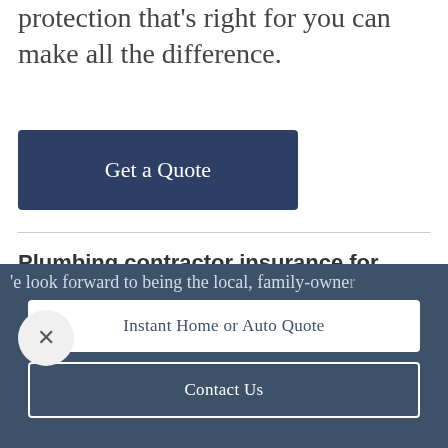protection that's right for you can make all the difference.
Get a Quote
Plumbing contractor insurance for your unique business.
Many plumbing contractors could benefit from starting out with a local...
'e look forward to being the local, family-owned
Instant Home or Auto Quote
Contact Us